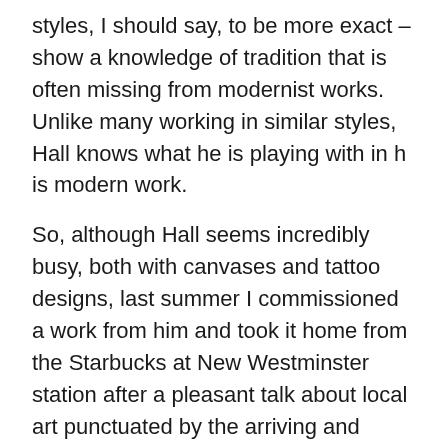styles, I should say, to be more exact – show a knowledge of tradition that is often missing from modernist works. Unlike many working in similar styles, Hall knows what he is playing with in h is modern work.
So, although Hall seems incredibly busy, both with canvases and tattoo designs, last summer I commissioned a work from him and took it home from the Starbucks at New Westminster station after a pleasant talk about local art punctuated by the arriving and departing Skytrains.
After some discussion, Hall painted "Happy Mess," a colorful canvas that breaks just about every traditional aspect imaginable. To start with, it is not confined to a primary color of black and a secondary red, with perhaps a third blue. Nor is it symmetrical, as most First Nations designs are, nor even a hint of a formline.